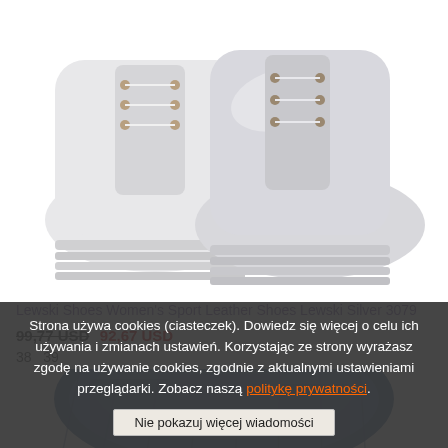[Figure (photo): White/silver high-top sport leather sneakers on white background, viewed from the front-side angle]
Lewski Shoes Women's Sport Leather Shoes Lewski Silver 3079
99,77 USD 92,67 USD
38   39
[Figure (photo): Partial view of blue denim jeans, cropped product photo]
Strona używa cookies (ciasteczek). Dowiedz się więcej o celu ich używania i zmianach ustawień. Korzystając ze strony wyrażasz zgodę na używanie cookies, zgodnie z aktualnymi ustawieniami przeglądarki. Zobacz naszą politykę prywatności.
Nie pokazuj więcej wiadomości